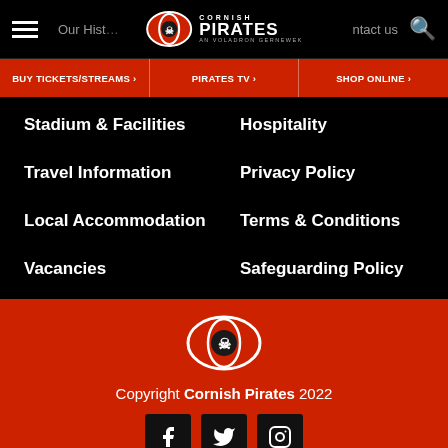Cornish Pirates navigation bar with hamburger menu, logo, Our History, Contact us links, and search icon
BUY TICKETS/STREAMS >
PIRATES TV >
SHOP ONLINE >
Stadium & Facilities
Hospitality
Travel Information
Privacy Policy
Local Accommodation
Terms & Conditions
Vacancies
Safeguarding Policy
[Figure (logo): Cornish Pirates oval logo with skull on red background]
Copyright Cornish Pirates 2022
[Figure (infographic): Social media icons: Facebook, Twitter, Instagram on black square backgrounds]
Web Design Cornwall by cape